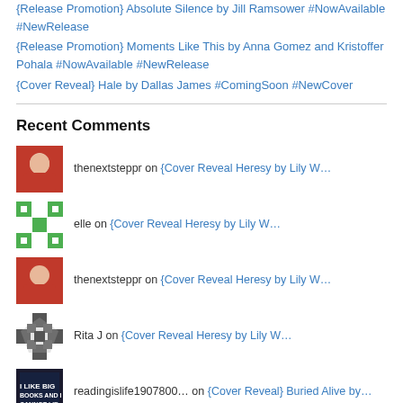{Release Promotion} Absolute Silence by Jill Ramsower #NowAvailable #NewRelease
{Release Promotion} Moments Like This by Anna Gomez and Kristoffer Pohala #NowAvailable #NewRelease
{Cover Reveal} Hale by Dallas James #ComingSoon #NewCover
Recent Comments
thenextsteppr on {Cover Reveal Heresy by Lily W…
elle on {Cover Reveal Heresy by Lily W…
thenextsteppr on {Cover Reveal Heresy by Lily W…
Rita J on {Cover Reveal Heresy by Lily W…
readingislife1907800… on {Cover Reveal} Buried Alive by…